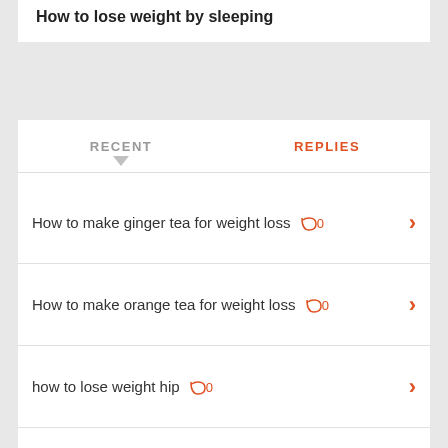How to lose weight by sleeping
RECENT
REPLIES
How to make ginger tea for weight loss 0
How to make orange tea for weight loss 0
how to lose weight hip 0
How to lose weight by sleeping 0